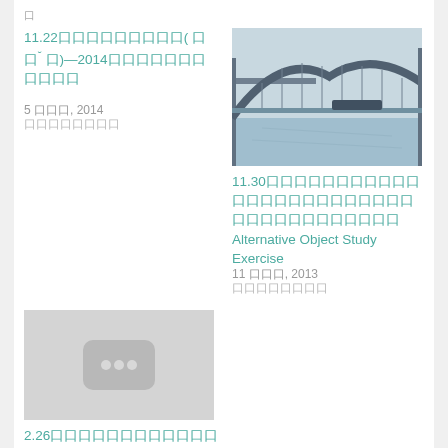口
11.22口口口口口口口口口( 口口˘ 口)—2014口口口口口口口口口口口
5 口口口, 2014
口口口口口口口口
[Figure (photo): Photo of Sydney Harbour Bridge]
11.30口口口口口口口口口口口口口口口口口口口口口口口口口口口口口口口口口口口口口口口口口口口口口口口口口口口口口口口口口口口口口口口口口口口口口口口Alternative Object Study Exercise
11 口口口, 2013
口口口口口口口口
[Figure (screenshot): Grey placeholder thumbnail with three dots icon]
2.26口口口口口口口口口口口口口口口口口口口口口口口口口口口口口口口口口口口口口口口口口口口口口口口口口口口口口口口口口口口口口口口口口口口
14 口口, 2012
口口口口口口